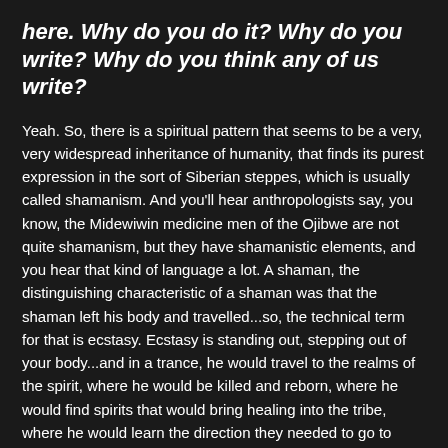here. Why do you do it? Why do you write? Why do you think any of us write?
Yeah. So, there is a spiritual pattern that seems to be a very, very widespread inheritance of humanity, that finds its purest expression in the sort of Siberian steppes, which is usually called shamanism. And you'll hear anthropologists say, you know, the Midewiwin medicine men of the Ojibwe are not quite shamanism, but they have shamanistic elements, and you hear that kind of language a lot. A shaman, the distinguishing characteristic of a shaman was that the shaman left his body and travelled...so, the technical term for that is ecstasy. Ecstasy is standing out, stepping out of your body...and in a trance, he would travel to the realms of the spirit, where he would be killed and reborn, where he would find spirits that would bring healing into the tribe, where he would learn the direction they needed to go to